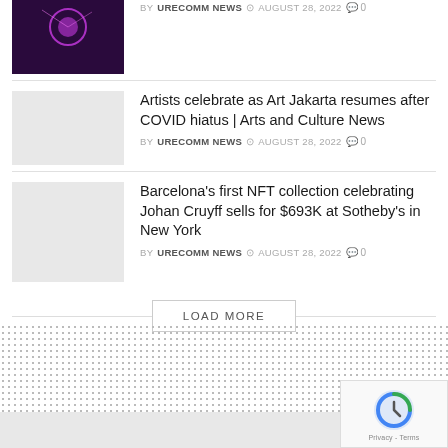[Figure (photo): Dark purple/magenta concert or event image thumbnail]
BY URECOMM NEWS  © AUGUST 28, 2022  0
[Figure (photo): Light gray placeholder image thumbnail]
Artists celebrate as Art Jakarta resumes after COVID hiatus | Arts and Culture News
BY URECOMM NEWS  © AUGUST 28, 2022  0
[Figure (photo): Light gray placeholder image thumbnail]
Barcelona's first NFT collection celebrating Johan Cruyff sells for $693K at Sotheby's in New York
BY URECOMM NEWS  © AUGUST 28, 2022  0
LOAD MORE
[Figure (other): reCAPTCHA widget with logo and Privacy - Terms text]